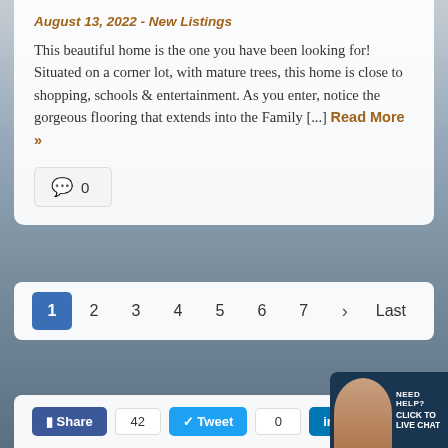August 13, 2022 - New Listings
This beautiful home is the one you have been looking for! Situated on a corner lot, with mature trees, this home is close to shopping, schools & entertainment. As you enter, notice the gorgeous flooring that extends into the Family [...] Read More »
🗨 0
1 2 3 4 5 6 7 › Last
Share 42  Tweet 0  Share 2